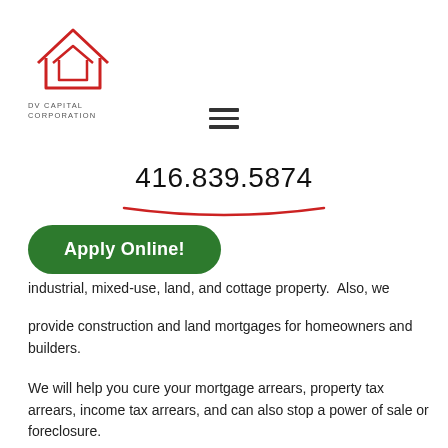[Figure (logo): DV Capital Corporation logo — red outline of a house shape, with company name below in grey uppercase letters]
[Figure (other): Hamburger menu icon — three horizontal dark lines stacked]
416.839.5874
Apply Online!
industrial, mixed-use, land, and cottage property. Also, we provide construction and land mortgages for homeowners and builders.
We will help you cure your mortgage arrears, property tax arrears, income tax arrears, and can also stop a power of sale or foreclosure.